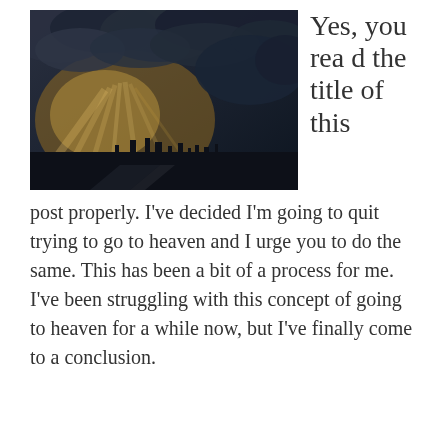[Figure (photo): Dramatic sky photo showing sunbeams breaking through dark storm clouds over a cityscape at dusk or dawn, with rays of light streaming down onto the city below.]
Yes, you read the title of this post properly. I've decided I'm going to quit trying to go to heaven and I urge you to do the same. This has been a bit of a process for me. I've been struggling with this concept of going to heaven for a while now, but I've finally come to a conclusion.